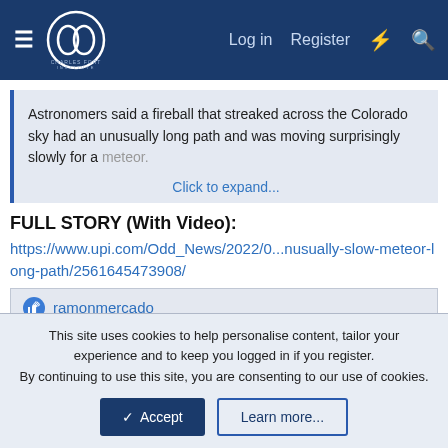Charles Fort Institute — Log in | Register
Astronomers said a fireball that streaked across the Colorado sky had an unusually long path and was moving surprisingly slowly for a meteor.
Click to expand...
FULL STORY (With Video):
https://www.upi.com/Odd_News/2022/0...nusually-slow-meteor-long-path/2561645473908/
ramonmercado
ghughesarch
Devoted Cultist
This site uses cookies to help personalise content, tailor your experience and to keep you logged in if you register.
By continuing to use this site, you are consenting to our use of cookies.